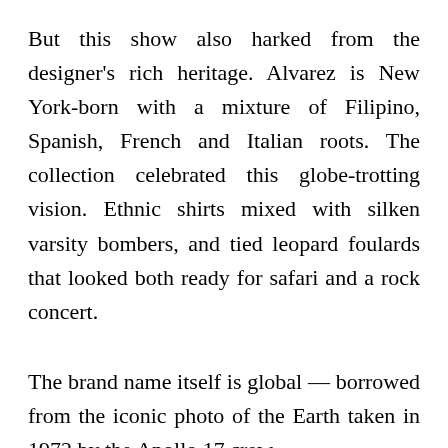But this show also harked from the designer's rich heritage. Alvarez is New York-born with a mixture of Filipino, Spanish, French and Italian roots. The collection celebrated this globe-trotting vision. Ethnic shirts mixed with silken varsity bombers, and tied leopard foulards that looked both ready for safari and a rock concert.
The brand name itself is global — borrowed from the iconic photo of the Earth taken in 1972 by the Apollo 17 crew.